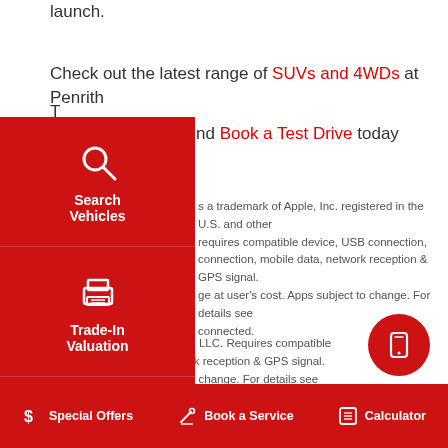launch.
Check out the latest range of SUVs and 4WDs at Penrith T...
...nd Book a Test Drive today
[Figure (infographic): Red side navigation panel with three items: Search Vehicles (magnifying glass icon), Trade-In Valuation (printer/box icon), Test Drive (car icon with arrow)]
...s a trademark of Apple, Inc. registered in the U.S. and other ... requires compatible device, USB connection, ...connection, mobile data, network reception & GPS signal. ...ge at user's cost. Apps subject to change. For details see ...connected.
...TM is a trademark of Google LLC. Requires compatible ...nection, mobile data, network reception & GPS signal. ...t user's cost. Apps subject to change. For details see toyota.com.au/connected.
[Figure (infographic): Red circular floating button with mobile phone icon]
Special Offers   Book a Service   Calculator